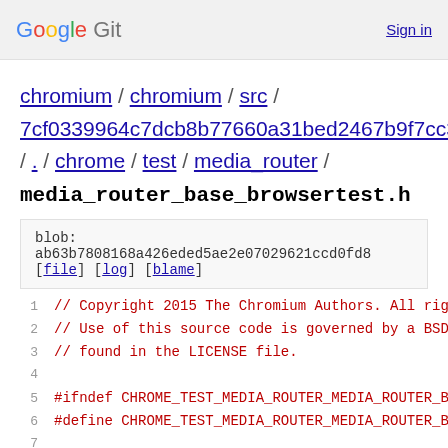Google Git   Sign in
chromium / chromium / src / 7cf0339964c7dcb8b77660a31bed2467b9f7cc3a / . / chrome / test / media_router /
media_router_base_browsertest.h
blob: ab63b7808168a426eded5ae2e07029621ccd0fd8
[file] [log] [blame]
1  // Copyright 2015 The Chromium Authors. All righ
2  // Use of this source code is governed by a BSD
3  // found in the LICENSE file.
4
5  #ifndef CHROME_TEST_MEDIA_ROUTER_MEDIA_ROUTER_BA
6  #define CHROME_TEST_MEDIA_ROUTER_MEDIA_ROUTER_BA
7
8  #include <string>